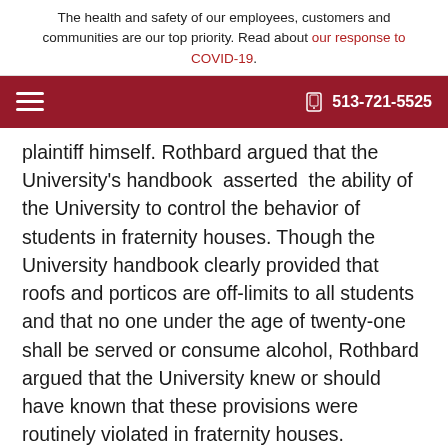The health and safety of our employees, customers and communities are our top priority. Read about our response to COVID-19.
plaintiff himself. Rothbard argued that the University's handbook  asserted  the ability of the University to control the behavior of students in fraternity houses. Though the University handbook clearly provided that roofs and porticos are off-limits to all students and that no one under the age of twenty-one shall be served or consume alcohol, Rothbard argued that the University knew or should have known that these provisions were routinely violated in fraternity houses.
In dealing with the claims against the University, the court, relying on prior New York cases, reaffirmed that colleges generally have no legal duty to shield their students from the dangerous conduct of other students. Therefore, according to the court, the college had/no duty to shield their students from their